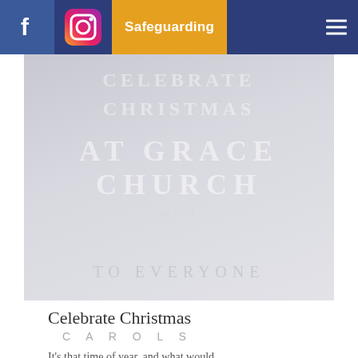Safeguarding
[Figure (illustration): A faded banner image for a church Christmas carol event at Grace Church, with large watermarked/faded text overlay]
Celebrate Christmas
CAROLS
It's that time of year, and what would